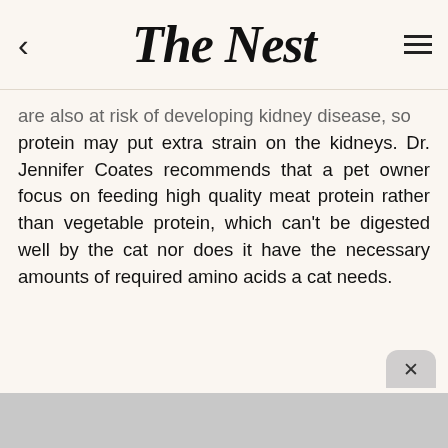The Nest
are also at risk of developing kidney disease, so protein may put extra strain on the kidneys. Dr. Jennifer Coates recommends that a pet owner focus on feeding high quality meat protein rather than vegetable protein, which can't be digested well by the cat nor does it have the necessary amounts of required amino acids a cat needs.